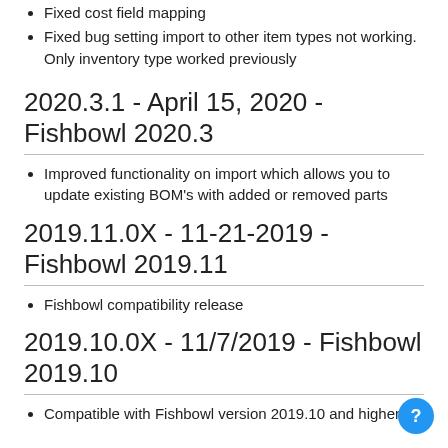Fixed cost field mapping
Fixed bug setting import to other item types not working. Only inventory type worked previously
2020.3.1 - April 15, 2020 - Fishbowl 2020.3
Improved functionality on import which allows you to update existing BOM's with added or removed parts
2019.11.0X - 11-21-2019 - Fishbowl 2019.11
Fishbowl compatibility release
2019.10.0X - 11/7/2019 - Fishbowl 2019.10
Compatible with Fishbowl version 2019.10 and higher